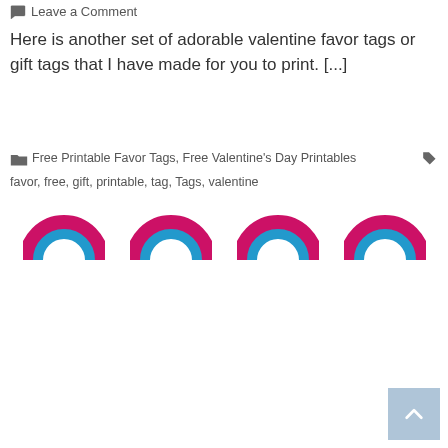Leave a Comment
Here is another set of adorable valentine favor tags or gift tags that I have made for you to print. [...]
Free Printable Favor Tags, Free Valentine's Day Printables
favor, free, gift, printable, tag, Tags, valentine
[Figure (illustration): Four rainbow/arch decorative icons in a row, each with a magenta/pink outer arch and a blue inner arch, partially cropped at the bottom of the visible area.]
[Figure (other): Scroll-to-top button: a light blue square with a white upward-pointing chevron arrow.]